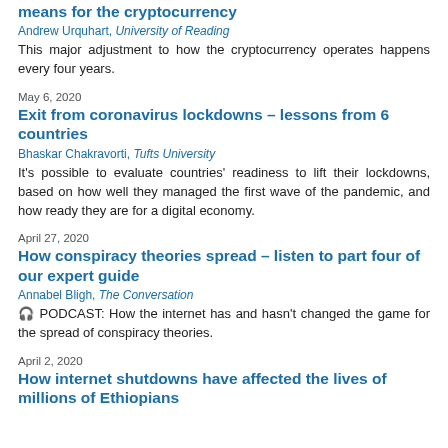means for the cryptocurrency
Andrew Urquhart, University of Reading
This major adjustment to how the cryptocurrency operates happens every four years.
May 6, 2020
Exit from coronavirus lockdowns – lessons from 6 countries
Bhaskar Chakravorti, Tufts University
It's possible to evaluate countries' readiness to lift their lockdowns, based on how well they managed the first wave of the pandemic, and how ready they are for a digital economy.
April 27, 2020
How conspiracy theories spread – listen to part four of our expert guide
Annabel Bligh, The Conversation
🎧 PODCAST: How the internet has and hasn't changed the game for the spread of conspiracy theories.
April 2, 2020
How internet shutdowns have affected the lives of millions of Ethiopians